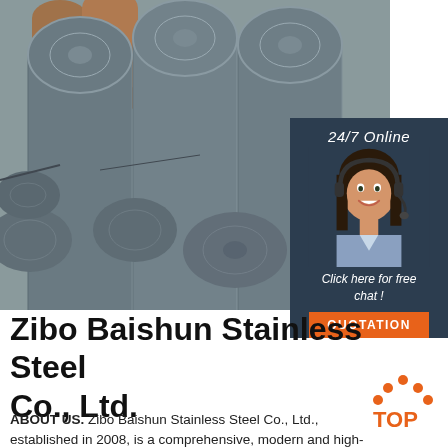[Figure (photo): Stack of round stainless steel rods/bars viewed from the end, showing circular cross-sections in grey metallic tones]
[Figure (infographic): Dark blue sidebar panel with '24/7 Online' text, a photo of a woman with a headset smiling, 'Click here for free chat!' text, and an orange QUOTATION button]
Zibo Baishun Stainless Steel Co., Ltd.
[Figure (logo): TOP logo with orange dots arranged in an arch above the word TOP in orange text]
ABOUT US. Zibo Baishun Stainless Steel Co., Ltd., established in 2008, is a comprehensive, modern and high-quality enterprise integrating